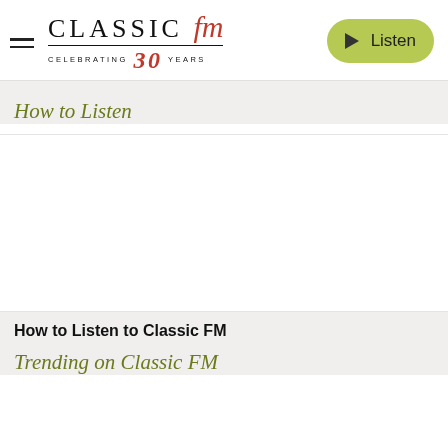[Figure (logo): Classic FM logo with hamburger menu icon, text 'CLASSIC fM', 'CELEBRATING 30 YEARS' with red italic 30, and a green Listen button with play icon]
How to Listen
[Figure (other): White content card area, blank/image placeholder]
How to Listen to Classic FM
Trending on Classic FM